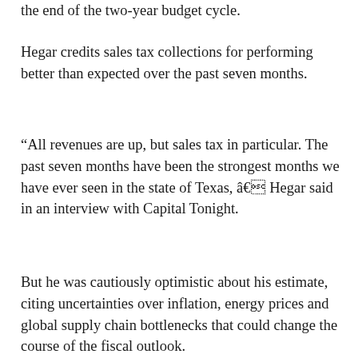the end of the two-year budget cycle.
Hegar credits sales tax collections for performing better than expected over the past seven months.
“All revenues are up, but sales tax in particular. The past seven months have been the strongest months we have ever seen in the state of Texas, â€ Hegar said in an interview with Capital Tonight.
But he was cautiously optimistic about his estimate, citing uncertainties over inflation, energy prices and global supply chain bottlenecks that could change the course of the fiscal outlook.
“All of this is going to have some type of drag on the Texas economy, especially for consumers in the ability to spend, as well as in some businesses, and that’s why I’m making these comments as to the caution of what we can see in the next 12